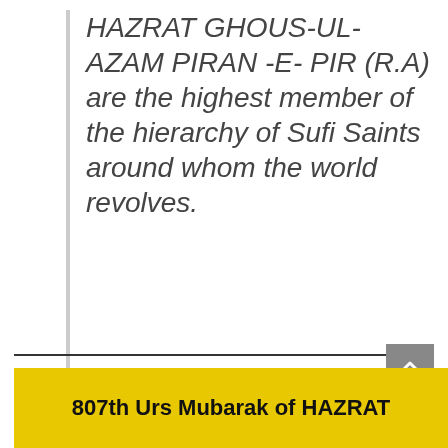HAZRAT GHOUS-UL- AZAM PIRAN -E- PIR (R.A) are the highest member of the hierarchy of Sufi Saints around whom the world revolves.
If you would like more detail in regards to Hazrat Ghous-ul-Azam (R.A). You may select link below for document: https://onedrive.live.com/redir?resid=6459A23191C13528%21227
807th Urs Mubarak of HAZRAT